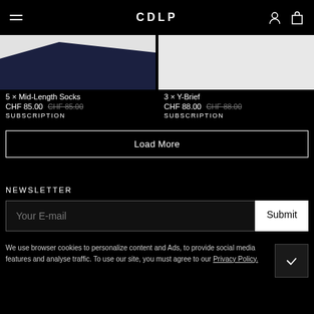CDLP
[Figure (photo): Product image of dark navy fabric socks on white background]
5 × Mid-Length Socks
CHF 85.00  CHF 85.00
SUBSCRIPTION
[Figure (photo): Product image on light grey/white background]
3 × Y-Brief
CHF 88.00  CHF 88.00
SUBSCRIPTION
Load More
NEWSLETTER
Your E-mail
Submit
We use browser cookies to personalize content and Ads, to provide social media features and analyse traffic. To use our site, you must agree to our Privacy Policy.